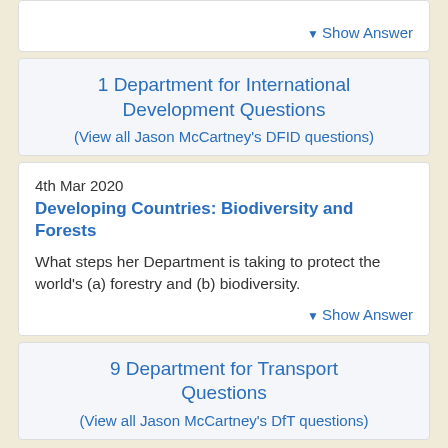Show Answer
1 Department for International Development Questions
(View all Jason McCartney's DFID questions)
4th Mar 2020
Developing Countries: Biodiversity and Forests
What steps her Department is taking to protect the world's (a) forestry and (b) biodiversity.
Show Answer
9 Department for Transport Questions
(View all Jason McCartney's DfT questions)